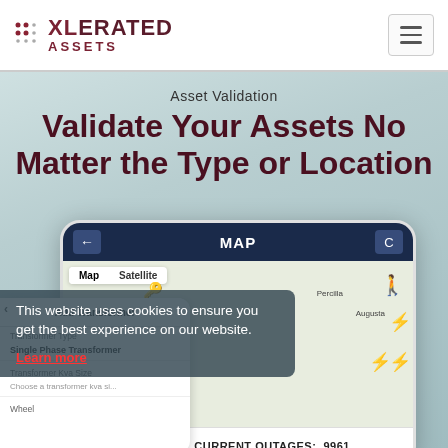[Figure (logo): XLerated Assets logo with dot grid icon and stylized text]
Asset Validation
Validate Your Assets No Matter the Type or Location
[Figure (screenshot): Mobile app screenshot showing a MAP view with lightning bolt outage icons on a map. Shows locations including Percilla, Augusta, Grapeland with highway 287. Bottom bar shows CURRENT OUTAGES: 9961 and a Got it! button.]
This website uses cookies to ensure you get the best experience on our website.
Learn more
Got it!
CURRENT OUTAGES:  9961